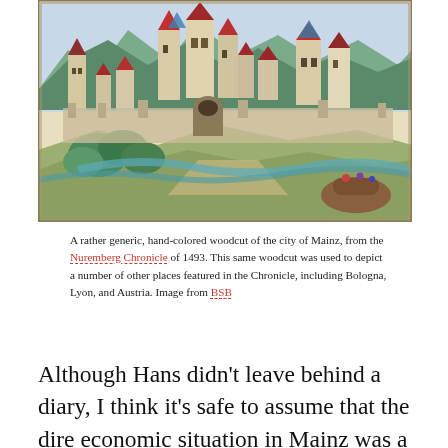[Figure (illustration): A hand-colored woodcut illustration of the city of Mainz from the Nuremberg Chronicle of 1493, showing a medieval cityscape with towers, churches, colorful rooftops, mountains in the background, and a river with a boat in the foreground.]
A rather generic, hand-colored woodcut of the city of Mainz, from the Nuremberg Chronicle of 1493. This same woodcut was used to depict a number of other places featured in the Chronicle, including Bologna, Lyon, and Austria. Image from BSB
Although Hans didn't leave behind a diary, I think it's safe to assume that the dire economic situation in Mainz was a significant factor in his decision to leave. That he chose Strasbourg over, say, the much